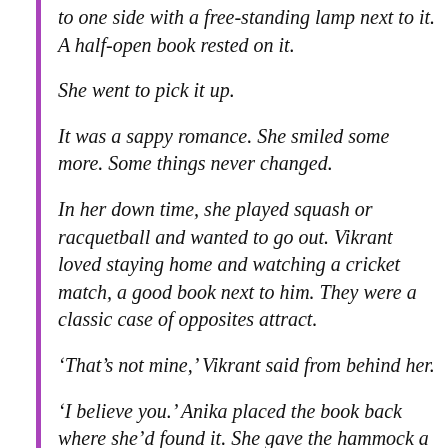to one side with a free-standing lamp next to it. A half-open book rested on it.
She went to pick it up.
It was a sappy romance. She smiled some more. Some things never changed.
In her down time, she played squash or racquetball and wanted to go out. Vikrant loved staying home and watching a cricket match, a good book next to him. They were a classic case of opposites attract.
‘That’s not mine,’ Vikrant said from behind her.
‘I believe you.’ Anika placed the book back where she’d found it. She gave the hammock a